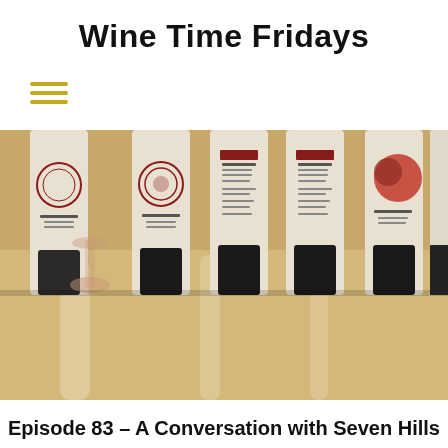Wine Time Fridays
[Figure (photo): Row of wine bottles standing on a wooden table, including bottles from Seven Hills Winery, photographed from the front showing labels.]
Episode 83 – A Conversation with Seven Hills